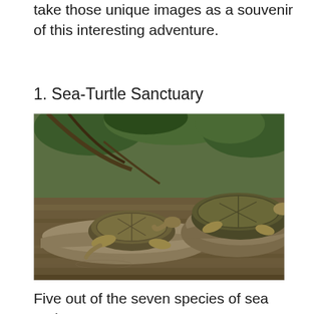take those unique images as a souvenir of this interesting adventure.
1. Sea-Turtle Sanctuary
[Figure (photo): Two freshwater turtles resting on a log partially submerged in a muddy river or pond, surrounded by green foliage and tree branches in the background.]
Five out of the seven species of sea turtles